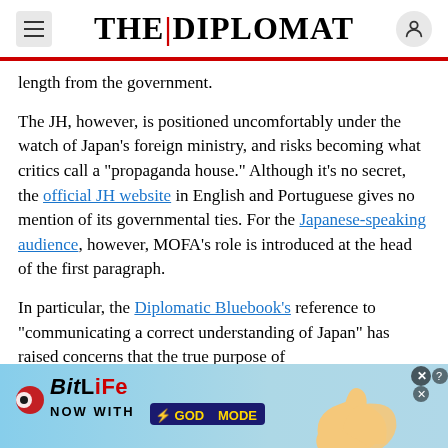THE DIPLOMAT
length from the government.
The JH, however, is positioned uncomfortably under the watch of Japan's foreign ministry, and risks becoming what critics call a "propaganda house." Although it's no secret, the official JH website in English and Portuguese gives no mention of its governmental ties. For the Japanese-speaking audience, however, MOFA's role is introduced at the head of the first paragraph.
In particular, the Diplomatic Bluebook's reference to "communicating a correct understanding of Japan" has raised concerns that the true purpose of